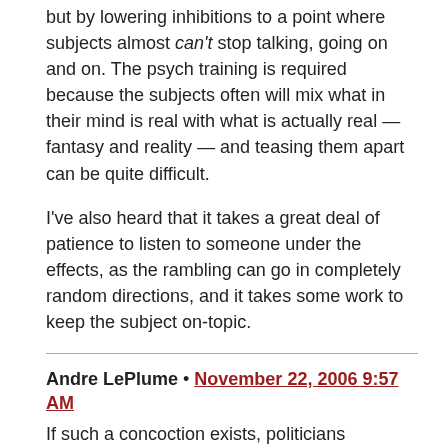but by lowering inhibitions to a point where subjects almost can't stop talking, going on and on. The psych training is required because the subjects often will mix what in their mind is real with what is actually real — fantasy and reality — and teasing them apart can be quite difficult.
I've also heard that it takes a great deal of patience to listen to someone under the effects, as the rambling can go in completely random directions, and it takes some work to keep the subject on-topic.
Andre LePlume • November 22, 2006 9:57 AM
If such a concoction exists, politicians apparently have been kept far from it.
Clive Robinson • November 22, 2006 10:19 AM
There is a book I read (in the late 1980's I think) by an ex-spetsnaz officer (can't remember the bods name) who had defected.
Prior to his defection he had spent some time improving